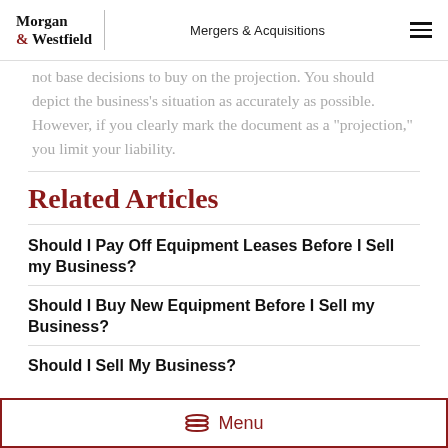Morgan & Westfield | Mergers & Acquisitions
not base decisions to buy on the projection. You should depict the business’s situation as accurately as possible. However, if you clearly mark the document as a “projection,” you limit your liability.
Related Articles
Should I Pay Off Equipment Leases Before I Sell my Business?
Should I Buy New Equipment Before I Sell my Business?
Should I Sell My Business?